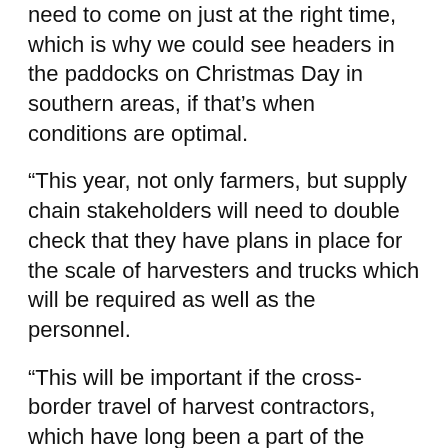need to come on just at the right time, which is why we could see headers in the paddocks on Christmas Day in southern areas, if that's when conditions are optimal.
“This year, not only farmers, but supply chain stakeholders will need to double check that they have plans in place for the scale of harvesters and trucks which will be required as well as the personnel.
“This will be important if the cross-border travel of harvest contractors, which have long been a part of the process as it moves from north to south, is still disrupted.”
With the major volumes forecast to come from a range of crops, Mr Bennett said grain receival sites would need to plan not just for personnel needs, but for the infrastructure to